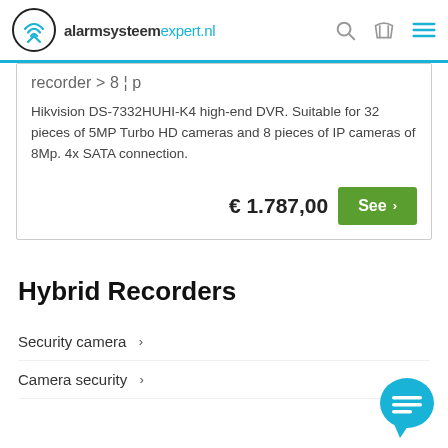alarmsysteemexpert.nl
recorder > 8 ¦ p
Hikvision DS-7332HUHI-K4 high-end DVR. Suitable for 32 pieces of 5MP Turbo HD cameras and 8 pieces of IP cameras of 8Mp. 4x SATA connection.
€ 1.787,00
Hybrid Recorders
Security camera  >
Camera security  >